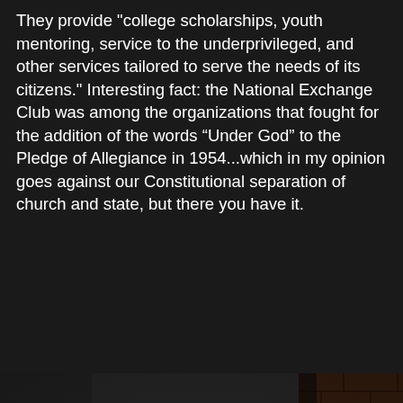They provide "college scholarships, youth mentoring, service to the underprivileged, and other services tailored to serve the needs of its citizens." Interesting fact: the National Exchange Club was among the organizations that fought for the addition of the words “Under God” to the Pledge of Allegiance in 1954...which in my opinion goes against our Constitutional separation of church and state, but there you have it.
[Figure (photo): Dark interior photograph of an abandoned room showing a brick chimney or fireplace column on the right side, peeling white walls, a small bright window in the background, and debris/broken furniture on the floor.]